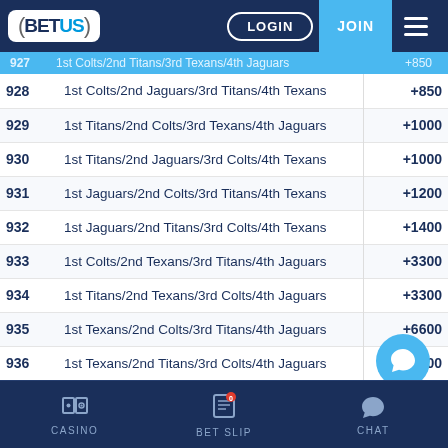BetUS - LOGIN | JOIN
| # | Description | Odds |
| --- | --- | --- |
| 927 | 1st Colts/2nd Titans/3rd Texans/4th Jaguars | +850 |
| 928 | 1st Colts/2nd Jaguars/3rd Titans/4th Texans | +850 |
| 929 | 1st Titans/2nd Colts/3rd Texans/4th Jaguars | +1000 |
| 930 | 1st Titans/2nd Jaguars/3rd Colts/4th Texans | +1000 |
| 931 | 1st Jaguars/2nd Colts/3rd Titans/4th Texans | +1200 |
| 932 | 1st Jaguars/2nd Titans/3rd Colts/4th Texans | +1400 |
| 933 | 1st Colts/2nd Texans/3rd Titans/4th Jaguars | +3300 |
| 934 | 1st Titans/2nd Texans/3rd Colts/4th Jaguars | +3300 |
| 935 | 1st Texans/2nd Colts/3rd Titans/4th Jaguars | +6600 |
| 936 | 1st Texans/2nd Titans/3rd Colts/4th Jaguars | +6600 |
| 937 | 1st Colts/2nd Jaguars/3rd Texans/4th Titans | +8000 |
| 938 | 1st Titans/2nd Texans/3rd Jaguars/4th Colts | +10000 |
| 939 | 1st Colts/2nd Texans/3rd Jaguars/4th Titans | +10000 |
CASINO | BET SLIP (0) | CHAT